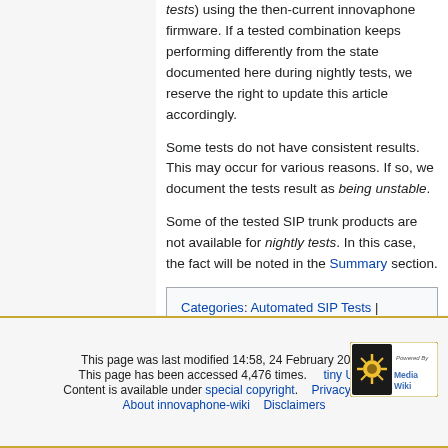tests) using the then-current innovaphone firmware. If a tested combination keeps performing differently from the state documented here during nightly tests, we reserve the right to update this article accordingly.
Some tests do not have consistent results. This may occur for various reasons. If so, we document the tests result as being unstable.
Some of the tested SIP trunk products are not available for nightly tests. In this case, the fact will be noted in the Summary section.
Categories: Automated SIP Tests | Compat | 3rdParty SIP Provider
This page was last modified 14:58, 24 February 2022. This page has been accessed 4,476 times. tiny URL Content is available under special copyright. Privacy policy About innovaphone-wiki Disclaimers